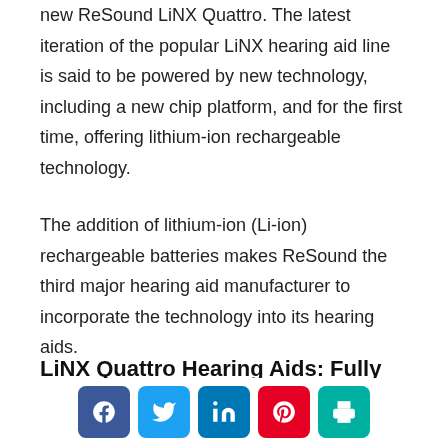new ReSound LiNX Quattro. The latest iteration of the popular LiNX hearing aid line is said to be powered by new technology, including a new chip platform, and for the first time, offering lithium-ion rechargeable technology.
The addition of lithium-ion (Li-ion) rechargeable batteries makes ReSound the third major hearing aid manufacturer to incorporate the technology into its hearing aids.
LiNX Quattro Hearing Aids: Fully Featured and Rechargeable
[Figure (other): Social sharing buttons: Facebook, Twitter, LinkedIn, Pinterest, Print]